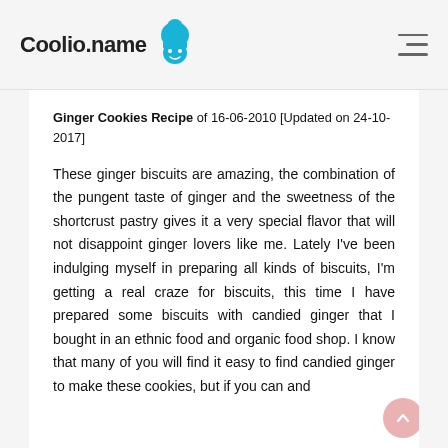Coolio.name
Ginger Cookies Recipe of 16-06-2010 [Updated on 24-10-2017]
These ginger biscuits are amazing, the combination of the pungent taste of ginger and the sweetness of the shortcrust pastry gives it a very special flavor that will not disappoint ginger lovers like me. Lately I've been indulging myself in preparing all kinds of biscuits, I'm getting a real craze for biscuits, this time I have prepared some biscuits with candied ginger that I bought in an ethnic food and organic food shop. I know that many of you will find it easy to find candied ginger to make these cookies, but if you can and